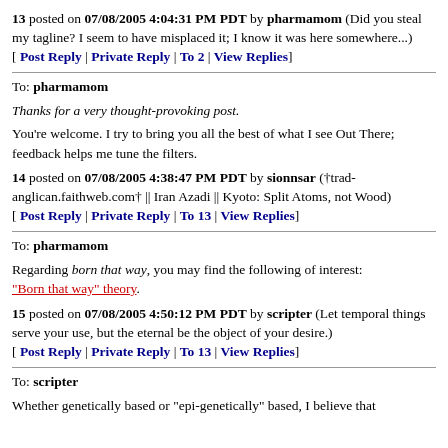13 posted on 07/08/2005 4:04:31 PM PDT by pharmamom (Did you steal my tagline? I seem to have misplaced it; I know it was here somewhere...) [ Post Reply | Private Reply | To 2 | View Replies]
To: pharmamom
Thanks for a very thought-provoking post.
You're welcome. I try to bring you all the best of what I see Out There; feedback helps me tune the filters.
14 posted on 07/08/2005 4:38:47 PM PDT by sionnsar (†trad-anglican.faithweb.com† || Iran Azadi || Kyoto: Split Atoms, not Wood) [ Post Reply | Private Reply | To 13 | View Replies]
To: pharmamom
Regarding born that way, you may find the following of interest: "Born that way" theory.
15 posted on 07/08/2005 4:50:12 PM PDT by scripter (Let temporal things serve your use, but the eternal be the object of your desire.) [ Post Reply | Private Reply | To 13 | View Replies]
To: scripter
Whether genetically based or "epi-genetically" based, I believe that